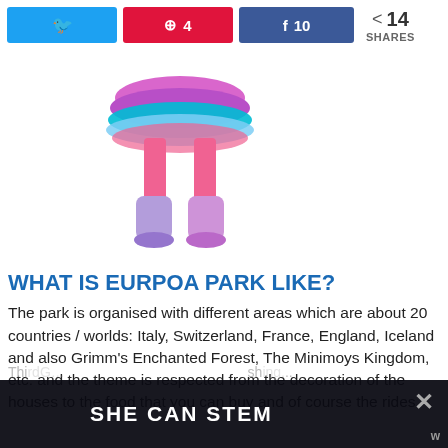Twitter share | Pinterest 4 | Facebook 10 | < 14 SHARES
[Figure (photo): Two partial costume images: left shows colorful pink/blue tutu skirt with pink knee socks and tie-dye boots; right shows purple furry monster vest with orange spots and orange monster claws/feet]
WHAT IS EURPOA PARK LIKE?
The park is organised with different areas which are about 20 countries / worlds: Italy, Switzerland, France, England, Iceland and also Grimm's Enchanted Forest, The Minimoys Kingdom, etc. and the theme is respected from the decoration of the houses to the food that you can buy and of course the rides.
[Figure (screenshot): Ad overlay at bottom: dark background with text 'SHE CAN STEM' in white bold letters, close X button top right, small logo bottom right. Faded text behind ad reads 'Thi... ...shing...']